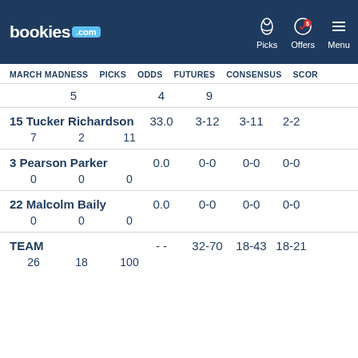bookies.com | Picks | Offers | Menu
MARCH MADNESS  PICKS  ODDS  FUTURES  CONSENSUS  SCORE
5  4  9
15 Tucker Richardson  33.0  3-12  3-11  2-2
7  2  11
3 Pearson Parker  0.0  0-0  0-0  0-0
0  0  0
22 Malcolm Baily  0.0  0-0  0-0  0-0
0  0  0
TEAM  --  32-70  18-43  18-21
26  18  100